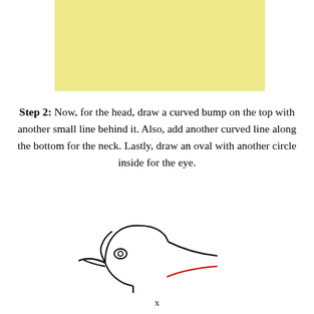[Figure (illustration): Yellow/cream colored rectangle at the top of the page, representing a previous step illustration placeholder.]
Step 2: Now, for the head, draw a curved bump on the top with another small line behind it. Also, add another curved line along the bottom for the neck. Lastly, draw an oval with another circle inside for the eye.
[Figure (illustration): A line drawing of a bird's head and neck in progress. The bird has a beak pointing left, an oval eye with a circle inside, a curved head outline with a bump on top, and a curved neck line. A red line indicates the newly added curved line at the bottom for the neck/body area.]
x